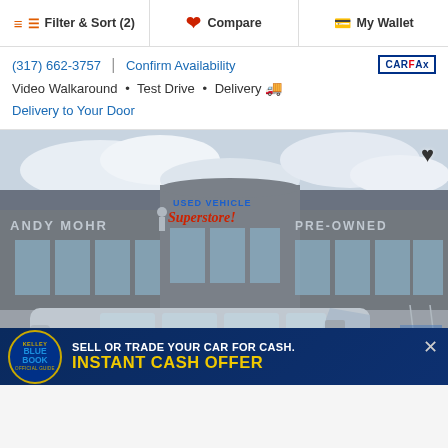Filter & Sort (2) | Compare | My Wallet
(317) 662-3757  |  Confirm Availability
Video Walkaround · Test Drive · Delivery
Delivery to Your Door
[Figure (photo): Silver minivan parked in front of Andy Mohr Used Vehicle Superstore Pre-Owned dealership building]
SELL OR TRADE YOUR CAR FOR CASH. INSTANT CASH OFFER